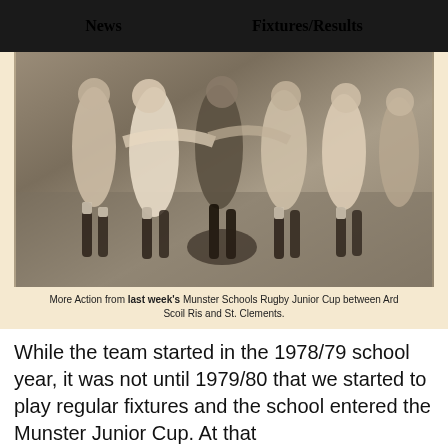News   Fixtures/Results
[Figure (photo): Black and white newspaper photo of rugby match action from the Munster Schools Rugby Junior Cup between Ard Scoil Ris and St. Clements, c.1979.]
More Action from last week's Munster Schools Rugby Junior Cup between Ard Scoil Ris and St. Clements.
While the team started in the 1978/79 school year, it was not until 1979/80 that we started to play regular fixtures and the school entered the Munster Junior Cup. At that